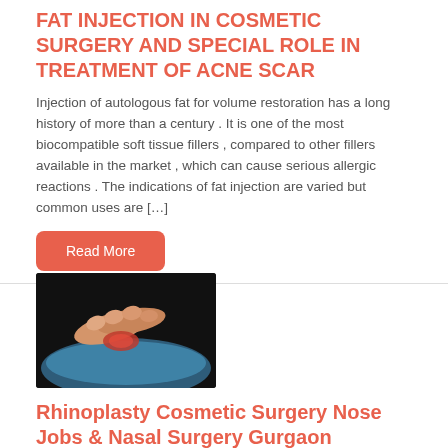FAT INJECTION IN COSMETIC SURGERY AND SPECIAL ROLE IN TREATMENT OF ACNE SCAR
Injection of autologous fat for volume restoration has a long history of more than a century . It is one of the most biocompatible soft tissue fillers , compared to other fillers available in the market , which can cause serious allergic reactions . The indications of fat injection are varied but common uses are […]
Read More
[Figure (photo): Close-up photo of hands performing a surgical or cosmetic procedure on skin tissue]
Rhinoplasty Cosmetic Surgery Nose Jobs & Nasal Surgery Gurgaon
RHINOPLASTY / NOSE SURGERY/ NOSE JOB –EVERY PATIENT IS A DIFFERENT INDIVIDUAL As a Plastic